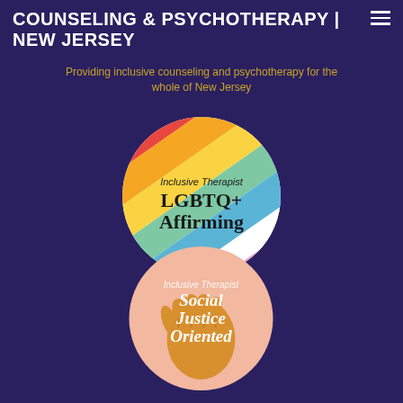COUNSELING & PSYCHOTHERAPY | NEW JERSEY
Providing inclusive counseling and psychotherapy for the whole of New Jersey
[Figure (logo): Inclusive Therapist LGBTQ+ Affirming badge — circular badge with rainbow stripes in the background and bold black text reading 'Inclusive Therapist LGBTQ+ Affirming']
[Figure (logo): Inclusive Therapist Social Justice Oriented badge — circular pink badge with golden raised fist and white italic text reading 'Inclusive Therapist Social Justice Oriented']